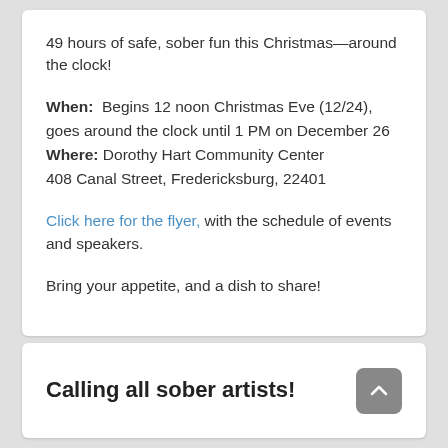49 hours of safe, sober fun this Christmas—around the clock!
When: Begins 12 noon Christmas Eve (12/24), goes around the clock until 1 PM on December 26
Where: Dorothy Hart Community Center
408 Canal Street, Fredericksburg, 22401
Click here for the flyer, with the schedule of events and speakers.
Bring your appetite, and a dish to share!
Calling all sober artists!